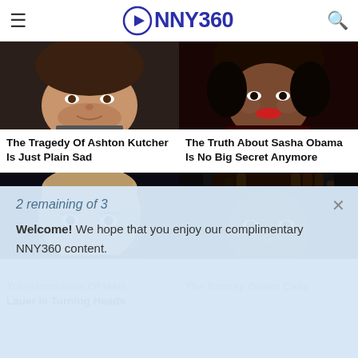NNY360
[Figure (photo): Close-up photo of Ashton Kutcher, male celebrity with stubble, dark background]
[Figure (photo): Close-up photo of Sasha Obama, young woman with red lips, dark curly hair]
The Tragedy Of Ashton Kutcher Is Just Plain Sad
The Truth About Sasha Obama Is No Big Secret Anymore
[Figure (photo): Close-up photo of Matt Lauer, bald male with dark background]
[Figure (photo): Close-up photo of Brittney Griner, woman with braided hair]
2 remaining of 3
Welcome! We hope that you enjoy our complimentary NNY360 content.
Transformation Of Matt Lauer Is Turning Heads
The Britney Griner Case